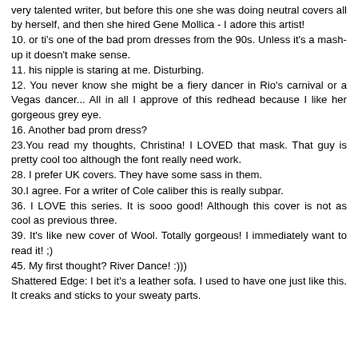very talented writer, but before this one she was doing neutral covers all by herself, and then she hired Gene Mollica - I adore this artist!
10. or ti's one of the bad prom dresses from the 90s. Unless it's a mash-up it doesn't make sense.
11. his nipple is staring at me. Disturbing.
12. You never know she might be a fiery dancer in Rio's carnival or a Vegas dancer... All in all I approve of this redhead because I like her gorgeous grey eye.
16. Another bad prom dress?
23.You read my thoughts, Christina! I LOVED that mask. That guy is pretty cool too although the font really need work.
28. I prefer UK covers. They have some sass in them.
30.I agree. For a writer of Cole caliber this is really subpar.
36. I LOVE this series. It is sooo good! Although this cover is not as cool as previous three.
39. It's like new cover of Wool. Totally gorgeous! I immediately want to read it! ;)
45. My first thought? River Dance! :)))
Shattered Edge: I bet it's a leather sofa. I used to have one just like this. It creaks and sticks to your sweaty parts.